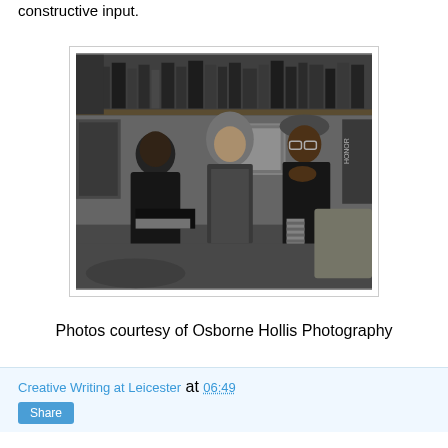constructive input.
[Figure (photo): Black and white photograph of three people seated in a room with bookshelves in the background. A man on the left is looking down at a book or notes, a woman in the middle is facing right and smiling, and a woman on the right is laughing with her hands clasped together. The room has posters and books on shelves.]
Photos courtesy of Osborne Hollis Photography
Creative Writing at Leicester at 06:49
Share